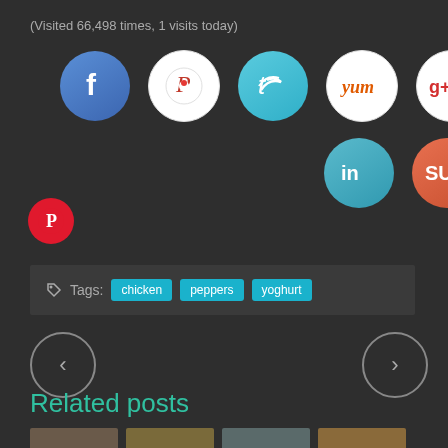(Visited 66,498 times, 1 visits today)
[Figure (infographic): Row of social media share icons: Facebook (blue circle), Pinterest (white/red circle), Twitter (blue circle), Yummly (white/orange circle), Google+ (white/red circle)]
[Figure (infographic): Second row of social icons: LinkedIn (blue circle), StumbleUpon (orange/red circle)]
[Figure (infographic): Small Pinterest icon (red circle)]
Tags: chicken peppers yoghurt
[Figure (infographic): Navigation arrows: left arrow circle (previous) and right arrow circle (next)]
Related posts
[Figure (photo): Four related post thumbnail images at bottom]